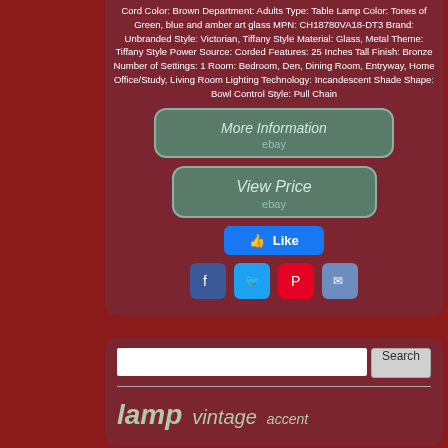Cord Color: Brown Department: Adults Type: Table Lamp Color: Tones of Green, blue and amber art glass MPN: CH18780VA18-DT3 Brand: Unbranded Style: Victorian, Tiffany Style Material: Glass, Metal Theme: Tiffany Style Power Source: Corded Features: 25 Inches Tall Finish: Bronze Number of Settings: 1 Room: Bedroom, Den, Dining Room, Entryway, Home Office/Study, Living Room Lighting Technology: Incandescent Shade Shape: Bowl Control Style: Pull Chain
[Figure (screenshot): More Information button with ebay logo]
[Figure (screenshot): View Price button with ebay logo]
[Figure (screenshot): Facebook Like button]
[Figure (screenshot): Social sharing icons: Facebook, Twitter, Pinterest, Email]
[Figure (screenshot): Search bar with text input and Search button]
lamp vintage accent